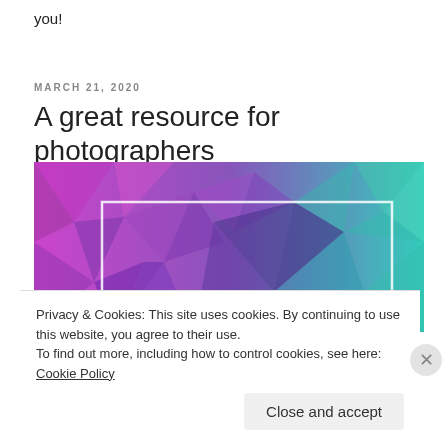you!
MARCH 21, 2020
A great resource for photographers
[Figure (illustration): Abstract low-poly geometric background image transitioning from purple/magenta on the left to teal/cyan on the right, with a white-bordered rectangle overlay in the center.]
Privacy & Cookies: This site uses cookies. By continuing to use this website, you agree to their use.
To find out more, including how to control cookies, see here: Cookie Policy
Close and accept